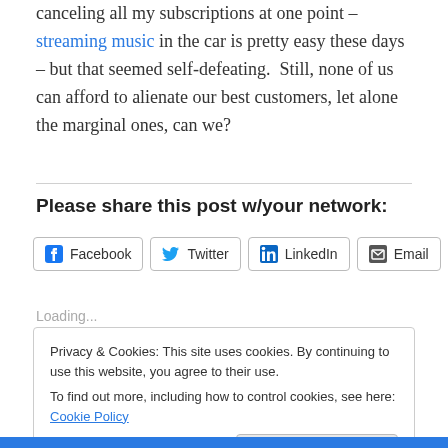canceling all my subscriptions at one point – streaming music in the car is pretty easy these days – but that seemed self-defeating.  Still, none of us can afford to alienate our best customers, let alone the marginal ones, can we?
Please share this post w/your network:
Facebook  Twitter  LinkedIn  Email  Tumblr
Loading...
Privacy & Cookies: This site uses cookies. By continuing to use this website, you agree to their use. To find out more, including how to control cookies, see here: Cookie Policy
Close and accept